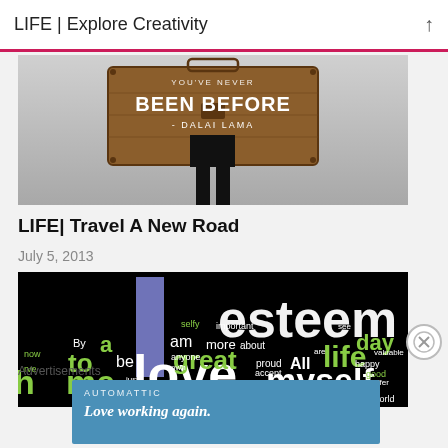LIFE | Explore Creativity
[Figure (photo): Photo of a person holding a wicker suitcase with text 'YOU'VE NEVER BEEN BEFORE - DALAI LAMA' printed on it]
LIFE| Travel A New Road
July 5, 2013
[Figure (photo): Word cloud image on black background featuring words like 'esteem', 'love', 'myself', 'life', 'great', 'day', 'me', 'to', 'be', 'am', 'more', 'All', 'a', 'By', 'proud', 'about', 'accept', 'selfy', 'important', 'anyone', 'own', 'happy', 'good', 'valuable', 'offer', 'see', 'now', 'just', 'do', 'very', 'like', 'world']
Advertisements
[Figure (other): Advertisement banner for AUTOMATTIC reading 'Love working again.']